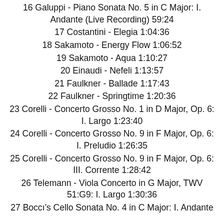16 Galuppi - Piano Sonata No. 5 in C Major: I. Andante (Live Recording) 59:24
17 Costantini - Elegia 1:04:36
18 Sakamoto - Energy Flow 1:06:52
19 Sakamoto - Aqua 1:10:27
20 Einaudi - Nefeli 1:13:57
21 Faulkner - Ballade 1:17:43
22 Faulkner - Springtime 1:20:36
23 Corelli - Concerto Grosso No. 1 in D Major, Op. 6: I. Largo 1:23:40
24 Corelli - Concerto Grosso No. 9 in F Major, Op. 6: I. Preludio 1:26:35
25 Corelli - Concerto Grosso No. 9 in F Major, Op. 6: III. Corrente 1:28:42
26 Telemann - Viola Concerto in G Major, TWV 51:G9: I. Largo 1:30:36
27 Boccini - Cello Sonata No. 4 in C Major: I. Andante...